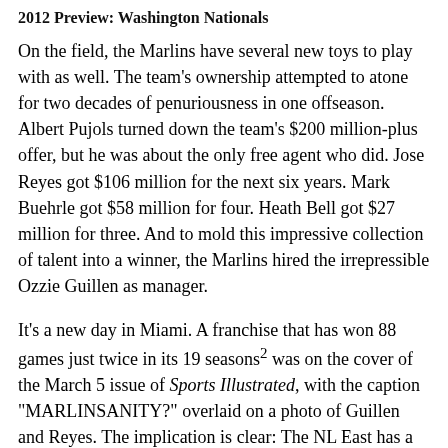2012 Preview: Washington Nationals
On the field, the Marlins have several new toys to play with as well. The team's ownership attempted to atone for two decades of penuriousness in one offseason. Albert Pujols turned down the team's $200 million-plus offer, but he was about the only free agent who did. Jose Reyes got $106 million for the next six years. Mark Buehrle got $58 million for four. Heath Bell got $27 million for three. And to mold this impressive collection of talent into a winner, the Marlins hired the irrepressible Ozzie Guillen as manager.
It's a new day in Miami. A franchise that has won 88 games just twice in its 19 seasons² was on the cover of the March 5 issue of Sports Illustrated, with the caption "MARLINSANITY?" overlaid on a photo of Guillen and Reyes. The implication is clear: The NL East has a new, rising power. The Phillies are aging, the Braves are underachieving and run with a corporate ethos that values profits over winning, and an aggressive young team is about to make its mark.